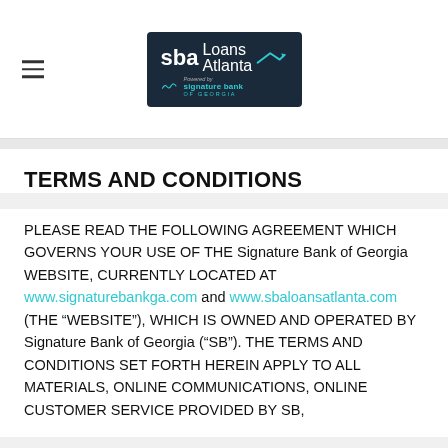SBA Loans Atlanta — Signature Bank of Georgia
TERMS AND CONDITIONS
PLEASE READ THE FOLLOWING AGREEMENT WHICH GOVERNS YOUR USE OF THE Signature Bank of Georgia WEBSITE, CURRENTLY LOCATED AT www.signaturebankga.com and www.sbaloansatlanta.com (THE “WEBSITE”), WHICH IS OWNED AND OPERATED BY Signature Bank of Georgia (“SB”). THE TERMS AND CONDITIONS SET FORTH HEREIN APPLY TO ALL MATERIALS, ONLINE COMMUNICATIONS, ONLINE CUSTOMER SERVICE PROVIDED BY SB,